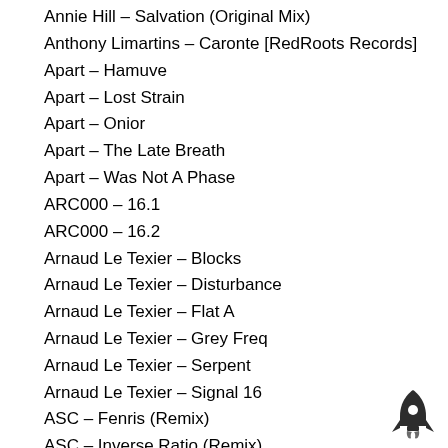Annie Hill – Salvation (Original Mix)
Anthony Limartins – Caronte [RedRoots Records]
Apart – Hamuve
Apart – Lost Strain
Apart – Onior
Apart – The Late Breath
Apart – Was Not A Phase
ARC000 – 16.1
ARC000 – 16.2
Arnaud Le Texier – Blocks
Arnaud Le Texier – Disturbance
Arnaud Le Texier – Flat A
Arnaud Le Texier – Grey Freq
Arnaud Le Texier – Serpent
Arnaud Le Texier – Signal 16
ASC – Fenris (Remix)
ASC – Inverse Ratio (Remix)
ASC – Night Clouds (Remix)
ASC – Zoning (Remix)
[Figure (illustration): Rocket ship icon in dark gray/black, small, positioned at bottom right corner]